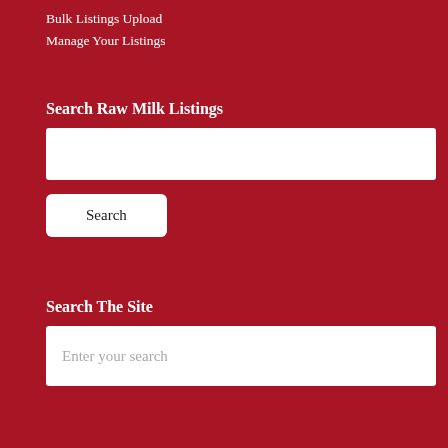Bulk Listings Upload
Manage Your Listings
Search Raw Milk Listings
Search
Search The Site
Enter your search